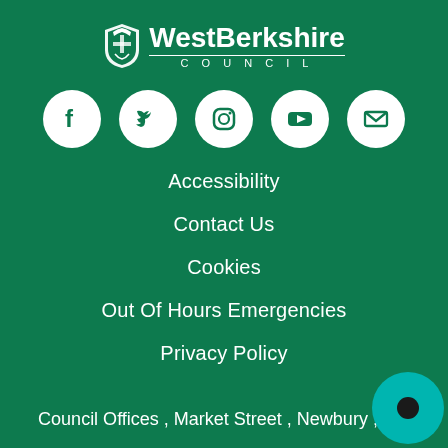[Figure (logo): West Berkshire Council logo with coat of arms shield and text 'WestBerkshire COUNCIL' in white on green background]
[Figure (infographic): Row of 5 white social media icons on green background: Facebook, Twitter, Instagram, YouTube, Email/envelope]
Accessibility
Contact Us
Cookies
Out Of Hours Emergencies
Privacy Policy
Council Offices , Market Street , Newbury , RG